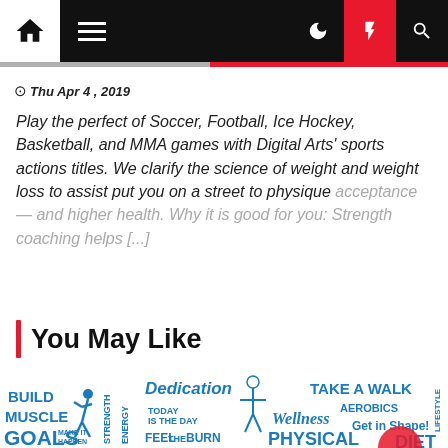Navigation bar with home, menu, dark mode, lightning/breaking, and search icons
Thu Apr 4 , 2019
Play the perfect of Soccer, Football, Ice Hockey, Basketball, and MMA games with Digital Arts' sports actions titles. We clarify the science of weight and weight loss to assist put you on a street to physique acceptance — and higher health. Why it is good for you: Strength coaching helps [...]
You May Like
[Figure (infographic): Word cloud / fitness motivation graphic with text including BUILD MUSCLE, GOALS, DEDICATION, TODAY IS THE DAY, FEEL THE BURN, TAKE A WALK, AEROBICS, Wellness, PHYSICAL, Get in Shape!, DIET, and a running figure silhouette, in blue and red colors.]